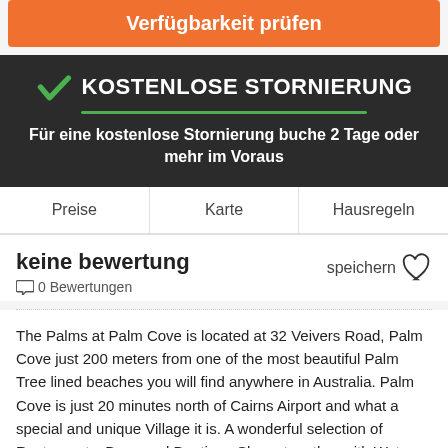Verfügbarkeit prüfen
KOSTENLOSE STORNIERUNG
Für eine kostenlose Stornierung buche 2 Tage oder mehr im Voraus
Preise   Karte   Hausregeln
keine bewertung
speichern
0 Bewertungen
The Palms at Palm Cove is located at 32 Veivers Road, Palm Cove just 200 meters from one of the most beautiful Palm Tree lined beaches you will find anywhere in Australia. Palm Cove is just 20 minutes north of Cairns Airport and what a special and unique Village it is. A wonderful selection of Restaurants, Bars, and Boutique Shops together with Water Sport activities, Spas and so much more are available for your enjoyment. Wonderful vibrant night life at a number of locations. Palm Cove is the ideal access location to so many of the Region's Tourist Venues. Our Travel Desk Staff are available to assist